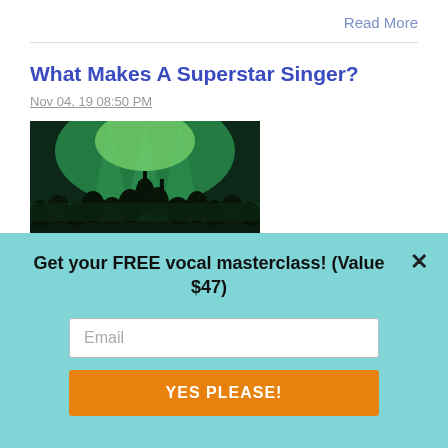Read More
What Makes A Superstar Singer?
Nov 04, 19 08:50 PM
[Figure (photo): Concert crowd with green stage lighting and silhouettes of people with hands raised]
What makes a star singer? Several of my vocal coaching clients have
Get your FREE vocal masterclass! (Value $47)
Email
YES PLEASE!